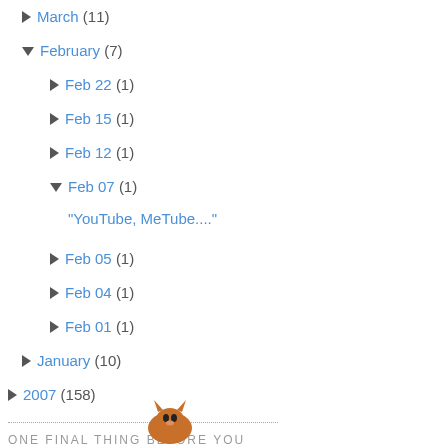► March (11)
▼ February (7)
► Feb 22 (1)
► Feb 15 (1)
► Feb 12 (1)
▼ Feb 07 (1)
"YouTube, MeTube...."
► Feb 05 (1)
► Feb 04 (1)
► Feb 01 (1)
► January (10)
► 2007 (158)
► 2006 (1)
ONE FINAL THING BEFORE YOU LEAF EZ SEZ:
[Figure (photo): Small orange cat illustration at bottom of page]